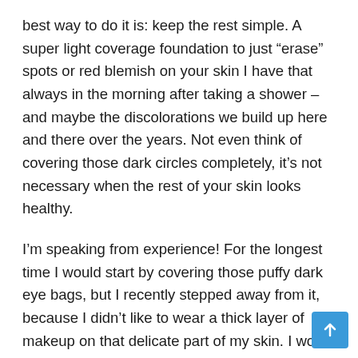best way to do it is: keep the rest simple. A super light coverage foundation to just “erase” spots or red blemish on your skin I have that always in the morning after taking a shower – and maybe the discolorations we build up here and there over the years. Not even think of covering those dark circles completely, it’s not necessary when the rest of your skin looks healthy.
I’m speaking from experience! For the longest time I would start by covering those puffy dark eye bags, but I recently stepped away from it, because I didn’t like to wear a thick layer of makeup on that delicate part of my skin. I would always “feel” it. Just a simple thin layer of foundation over my complete face already makes tha...